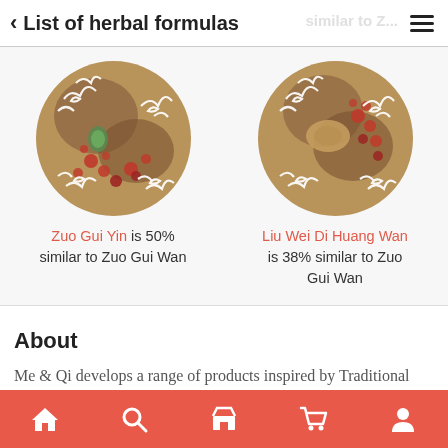< List of herbal formulas
[Figure (illustration): Circular herbal formula image for Zuo Gui Yin with decorative cloud motifs]
Zuo Gui Yin is 50% similar to Zuo Gui Wan
[Figure (illustration): Circular herbal formula image for Liu Wei Di Huang Wan with decorative cloud motifs]
Liu Wei Di Huang Wan is 38% similar to Zuo Gui Wan
About
Me & Qi develops a range of products inspired by Traditional Chinese Herbalism. Me & Qi products are all-natural and
Navigation: Home, Search, Shop, Cart, Profile